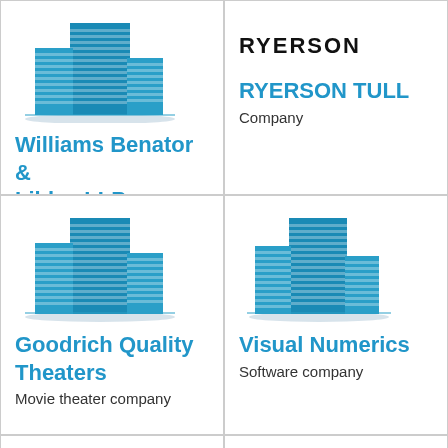[Figure (logo): Blue building/skyscraper icon]
Williams Benator & Libby, LLP
[Figure (logo): RYERSON text logo in bold black uppercase]
RYERSON TULL
Company
[Figure (logo): Blue building/skyscraper icon]
Goodrich Quality Theaters
Movie theater company
[Figure (logo): Blue building/skyscraper icon]
Visual Numerics
Software company
[Figure (logo): Blue building/skyscraper icon (partially visible)]
[Figure (logo): Blue building/skyscraper icon (partially visible)]